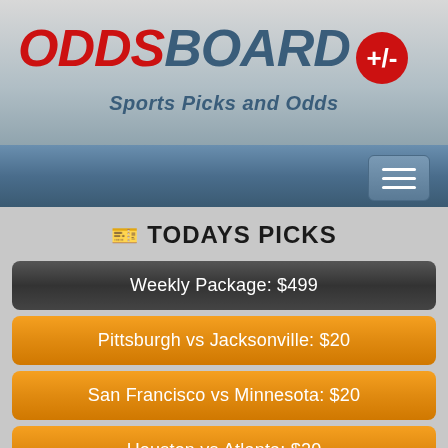ODDSBOARD +/- Sports Picks and Odds
TODAYS PICKS
Weekly Package: $499
Pittsburgh vs Jacksonville: $20
San Francisco vs Minnesota: $20
Houston vs Atlanta: $20
Seattle vs Oakland: $20
Washington vs San Diego: $20